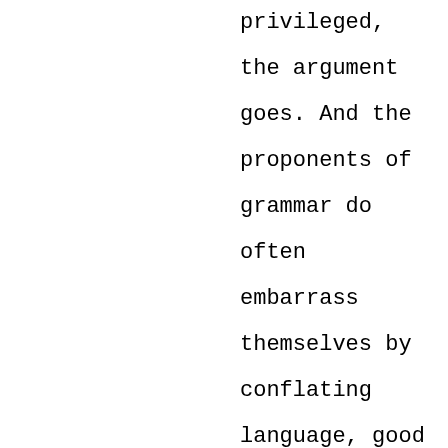privileged, the argument goes. And the proponents of grammar do often embarrass themselves by conflating language, good taste and morality, as if changes in usage are evidence of an unpleasant proletarianization of society. It's no accident that British writer Lynne Truss (Eats, Shoots & Leaves, Talk